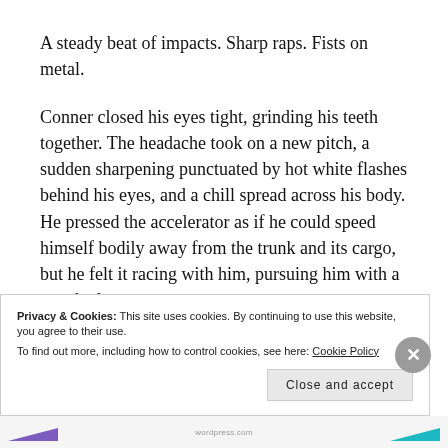A steady beat of impacts. Sharp raps. Fists on metal.
Conner closed his eyes tight, grinding his teeth together. The headache took on a new pitch, a sudden sharpening punctuated by hot white flashes behind his eyes, and a chill spread across his body. He pressed the accelerator as if he could speed himself bodily away from the trunk and its cargo, but he felt it racing with him, pursuing him with a matched
Privacy & Cookies: This site uses cookies. By continuing to use this website, you agree to their use.
To find out more, including how to control cookies, see here: Cookie Policy
Close and accept